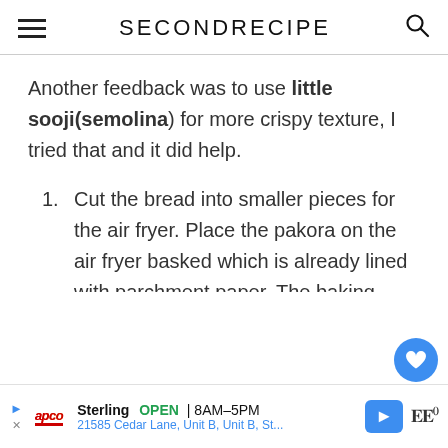SECONDRECIPE
Another feedback was to use little sooji(semolina) for more crispy texture, I tried that and it did help.
Cut the bread into smaller pieces for the air fryer. Place the pakora on the air fryer basked which is already lined with parchment paper. The baking paper should have holes in it. Also the
Sterling OPEN | 8AM–5PM 21585 Cedar Lane, Unit B, Unit B, St...